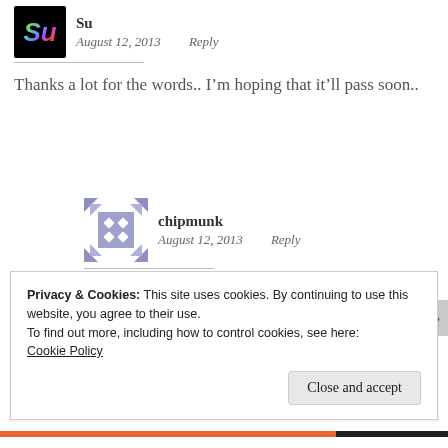[Figure (photo): Avatar image for user 'Su' showing colorful italic 'su' text on dark background]
Su
August 12, 2013   Reply
Thanks a lot for the words.. I'm hoping that it'll pass soon..
[Figure (illustration): Avatar image for user 'chipmunk' — purple/mauve geometric pattern with four diamond dots on square background with arrow-like corner shapes]
chipmunk
August 12, 2013   Reply
Privacy & Cookies: This site uses cookies. By continuing to use this website, you agree to their use.
To find out more, including how to control cookies, see here:
Cookie Policy
Close and accept